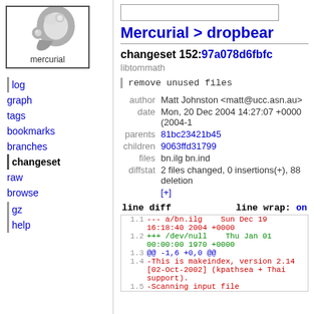[Figure (logo): Mercurial logo: stylized grey comma/teardrop shapes with smaller circle, text 'mercurial' below, in a bordered box]
Mercurial > dropbear
changeset 152:97a078d6fbfc   libtommath
log
graph
tags
bookmarks
branches
changeset
raw
browse
gz
help
remove unused files
| field | value |
| --- | --- |
| author | Matt Johnston <matt@ucc.asn.au> |
| date | Mon, 20 Dec 2004 14:27:07 +0000 (2004-1… |
| parents | 81bc23421b45 |
| children | 9063ffd31799 |
| files | bn.ilg bn.ind |
| diffstat | 2 files changed, 0 insertions(+), 88 deletion… [+] |
line diff    line wrap: on
1.1  --- a/bn.ilg    Sun Dec 19 16:18:40 2004 +0000
1.2  +++ /dev/null    Thu Jan 01 00:00:00 1970 +0000
1.3  @@ -1,6 +0,0 @@
1.4  -This is makeindex, version 2.14 [02-Oct-2002] (kpathsea + Thai support).
1.5  -Scanning input file